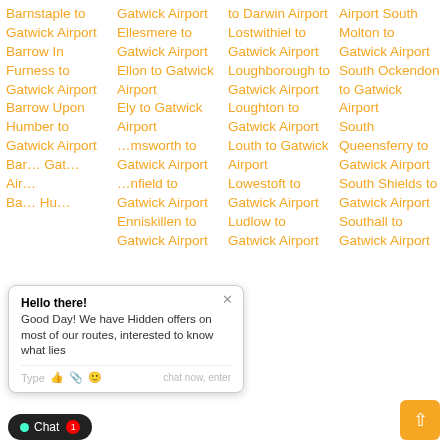Barnstaple to Gatwick Airport
Barrow In Furness to Gatwick Airport
Barrow Upon Humber to Gatwick Airport
Barnstaple to Gatwick Airport (partial, cut off)
Gatwick to Gatwick Airport (partial)
Ellesmere to Gatwick Airport
Ellon to Gatwick Airport
Ely to Gatwick Airport
Emsworth to Gatwick Airport
Enfield to Gatwick Airport
Enniskillen to Gatwick Airport
to Darwin Airport
Lostwithiel to Gatwick Airport
Loughborough to Gatwick Airport
Loughton to Gatwick Airport
Louth to Gatwick Airport
Lowestoft to Gatwick Airport
Ludlow to Gatwick Airport
Airport South Molton to Gatwick Airport
South Ockendon to Gatwick Airport
South Queensferry to Gatwick Airport
South Shields to Gatwick Airport
Southall to Gatwick Airport